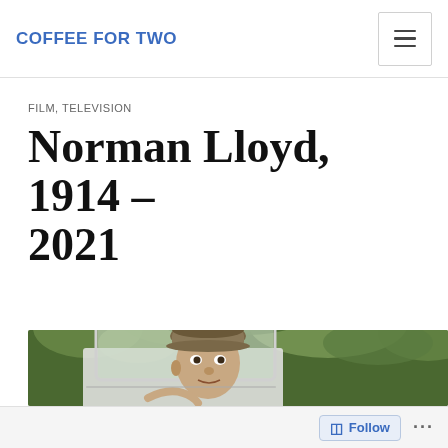COFFEE FOR TWO
FILM, TELEVISION
Norman Lloyd, 1914 – 2021
[Figure (photo): Elderly man looking through a car window, surrounded by greenery in the background. He wears a tweed flat cap and peers over the car door window.]
Follow